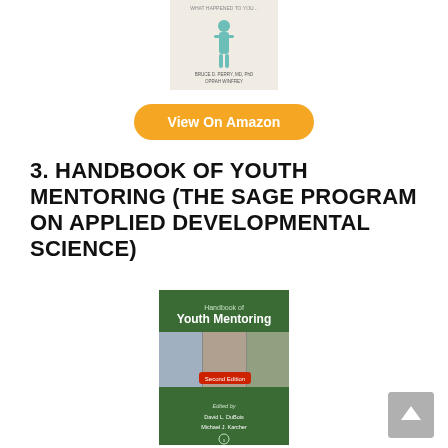[Figure (illustration): Book cover of 'What Happened to You?' by Bruce D. Perry and Oprah Winfrey – beige cover with a teal human figure silhouette]
View On Amazon
3. HANDBOOK OF YOUTH MENTORING (THE SAGE PROGRAM ON APPLIED DEVELOPMENTAL SCIENCE)
[Figure (illustration): Book cover of 'Handbook of Youth Mentoring' – green cover with photos of youth, Second Edition, edited by David L. DuBois and Michael J. Karcher]
[Figure (illustration): Scroll-to-top button – grey square with upward arrow]